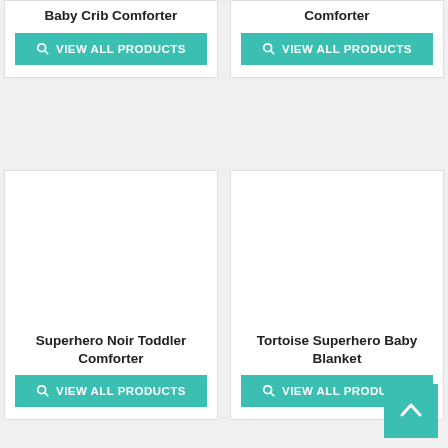Baby Crib Comforter
VIEW ALL PRODUCTS
Comforter
VIEW ALL PRODUCTS
[Figure (other): Blank product image area for Superhero Noir Toddler Comforter]
Superhero Noir Toddler Comforter
VIEW ALL PRODUCTS
[Figure (other): Blank product image area for Tortoise Superhero Baby Blanket]
Tortoise Superhero Baby Blanket
VIEW ALL PRODUCTS